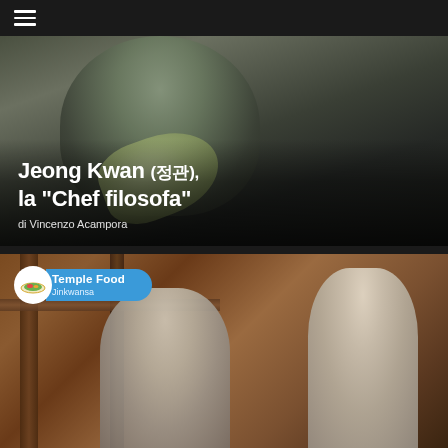☰
[Figure (photo): Close-up photo of a person in grey robe pouring green liquid from a vessel, with text overlay: 'Jeong Kwan (정관), la "Chef filosofa"' and byline 'di Vincenzo Acampora']
Jeong Kwan (정관), la "Chef filosofa"
di Vincenzo Acampora
[Figure (photo): Photo of two people in a wooden temple setting — a bald monk in grey robes on the left and a woman in white headscarf on the right — with a 'Temple Food Jinkwansa' badge overlay in the top-left corner]